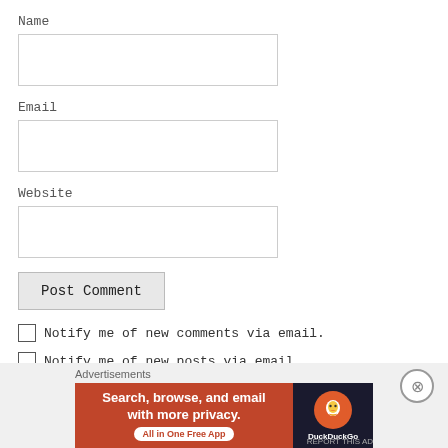Name
[Figure (other): Empty text input field for Name]
Email
[Figure (other): Empty text input field for Email]
Website
[Figure (other): Empty text input field for Website]
Post Comment
Notify me of new comments via email.
Notify me of new posts via email.
Advertisements
[Figure (screenshot): DuckDuckGo advertisement banner: 'Search, browse, and email with more privacy. All in One Free App' with orange background and dark panel showing DuckDuckGo logo]